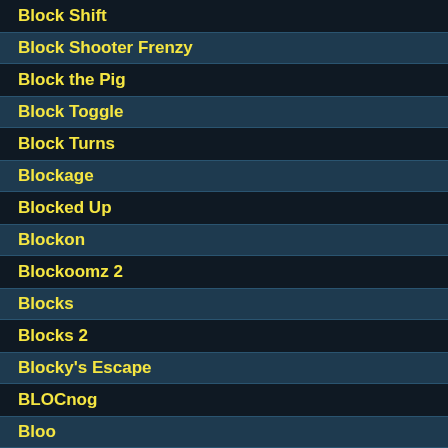Block Shift
Block Shooter Frenzy
Block the Pig
Block Toggle
Block Turns
Blockage
Blocked Up
Blockon
Blockoomz 2
Blocks
Blocks 2
Blocky's Escape
BLOCnog
Bloo
Bloom Defender
Bloons Pop 3